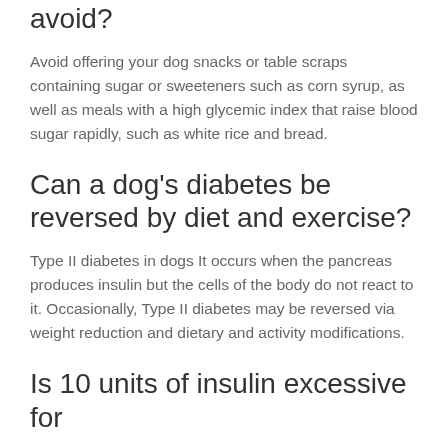avoid?
Avoid offering your dog snacks or table scraps containing sugar or sweeteners such as corn syrup, as well as meals with a high glycemic index that raise blood sugar rapidly, such as white rice and bread.
Can a dog's diabetes be reversed by diet and exercise?
Type II diabetes in dogs It occurs when the pancreas produces insulin but the cells of the body do not react to it. Occasionally, Type II diabetes may be reversed via weight reduction and dietary and activity modifications.
Is 10 units of insulin excessive for